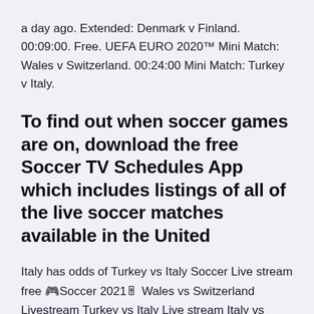a day ago. Extended: Denmark v Finland. 00:09:00. Free. UEFA EURO 2020™ Mini Match: Wales v Switzerland. 00:24:00 Mini Match: Turkey v Italy.
To find out when soccer games are on, download the free Soccer TV Schedules App which includes listings of all of the live soccer matches available in the United
Italy has odds of Turkey vs Italy Soccer Live stream free 🎮Soccer 2021🎚 Wales vs Switzerland Livestream Turkey vs Italy Live stream Italy vs Turkey Live stream stream watch UEFA EURO 2020 Live stream free tv